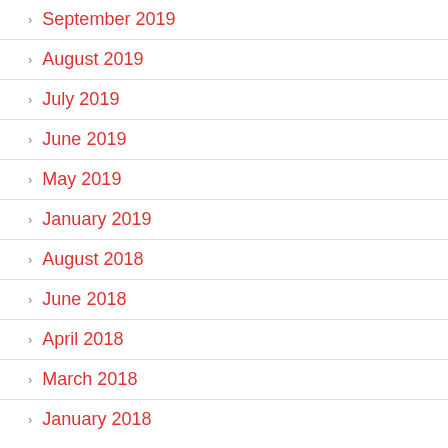September 2019
August 2019
July 2019
June 2019
May 2019
January 2019
August 2018
June 2018
April 2018
March 2018
January 2018